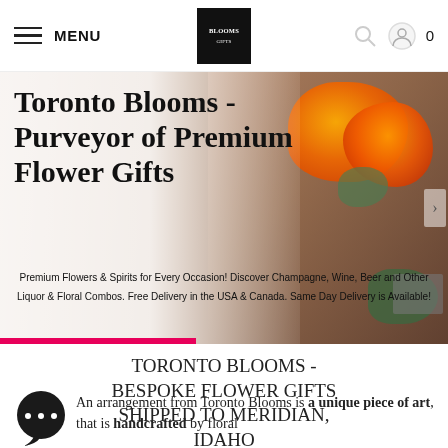MENU | BLOOMS LOGO | search icon | cart icon | 0
[Figure (photo): Hero banner with woman arranging orange roses in a grey box, with large title text overlaid: Toronto Blooms - Purveyor of Premium Flower Gifts]
Toronto Blooms - Purveyor of Premium Flower Gifts
Premium Flowers & Spirits for Every Occasion! Discover Champagne, Wine, Beer and Other Liquor & Floral Combos. Free Delivery in the USA & Canada. Same Day Delivery is Available!
TORONTO BLOOMS - BESPOKE FLOWER GIFTS SHIPPED TO MERIDIAN, IDAHO
An arrangement from Toronto Blooms is a unique piece of art, that is handcrafted by floral